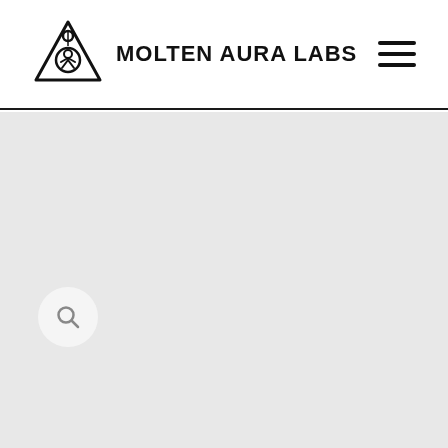[Figure (logo): Molten Aura Labs logo: triangular geometric symbol with a figure inside, followed by bold text reading MOLTEN AURA LABS]
[Figure (other): Hamburger menu icon: three horizontal black lines stacked vertically]
[Figure (other): Search icon button: magnifying glass icon inside a light gray circle, positioned on a light gray background content area]